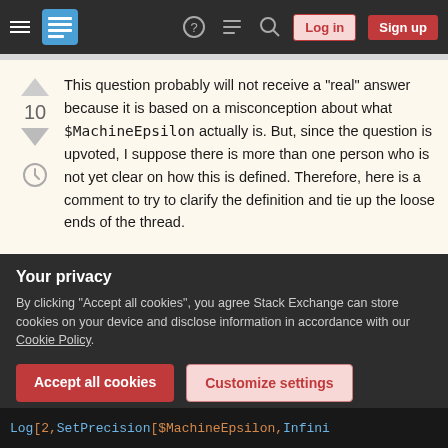Stack Exchange navigation bar with Log in and Sign up buttons
This question probably will not receive a "real" answer because it is based on a misconception about what $MachineEpsilon actually is. But, since the question is upvoted, I suppose there is more than one person who is not yet clear on how this is defined. Therefore, here is a comment to try to clarify the definition and tie up the loose ends of the thread.
The reason that adding $MachineEpsilon to
Your privacy
By clicking "Accept all cookies", you agree Stack Exchange can store cookies on your device and disclose information in accordance with our Cookie Policy.
Log[2, SetPrecision[$MachineEpsilon, Infini